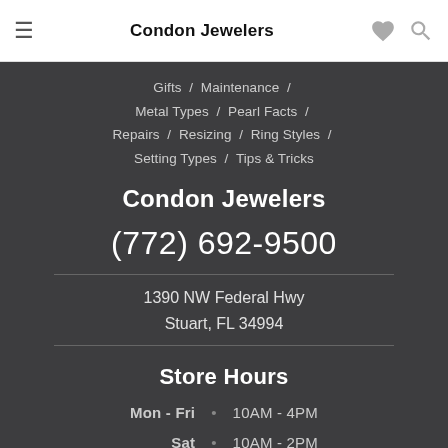Condon Jewelers
Gifts / Maintenance / Metal Types / Pearl Facts / Repairs / Resizing / Ring Styles / Setting Types / Tips & Tricks
Condon Jewelers
(772) 692-9500
1390 NW Federal Hwy
Stuart, FL 34994
Store Hours
| Day |  | Hours |
| --- | --- | --- |
| Mon - Fri | • | 10AM - 4PM |
| Sat | • | 10AM - 2PM |
| Sun | • | Closed |
[Figure (photo): Interior photo of Condon Jewelers store]